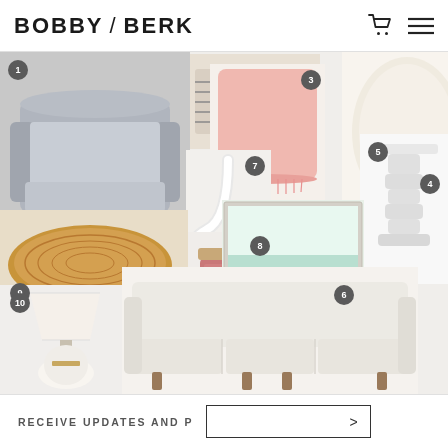BOBBY / BERK
[Figure (photo): Interior design mood board with numbered items including: 1-grey armchair, 2-striped pillow, 3-pink tassel pillow, 4-cream arc lamp, 5-white pedestal side table, 6-beach art print, 7-white hook, 8-Lavender-Eucalyptus candle, 9-rattan tray, 10-white table lamp, 11-cream sofa]
RECEIVE UPDATES AND P >